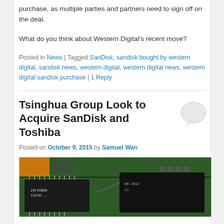purchase, as multiple parties and partners need to sign off on the deal.
What do you think about Western Digital's recent move?
Posted in News | Tagged SanDisk, sandisk bought by western digital, sandisk news, western digital, western digital news, western digital sandisk purchase | 1 Reply
Tsinghua Group Look to Acquire SanDisk and Toshiba
Posted on October 9, 2015 by Samuel Wan
[Figure (photo): Close-up photo of green circuit board with black memory chips]